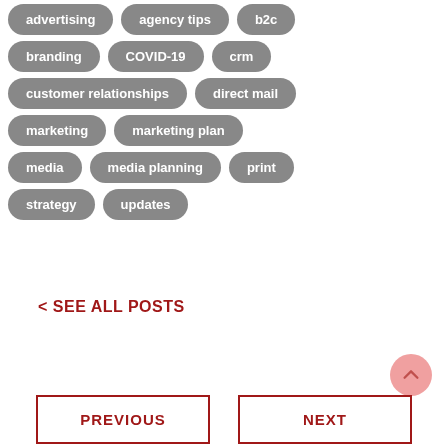advertising
agency tips
b2c
branding
COVID-19
crm
customer relationships
direct mail
marketing
marketing plan
media
media planning
print
strategy
updates
< SEE ALL POSTS
PREVIOUS
NEXT